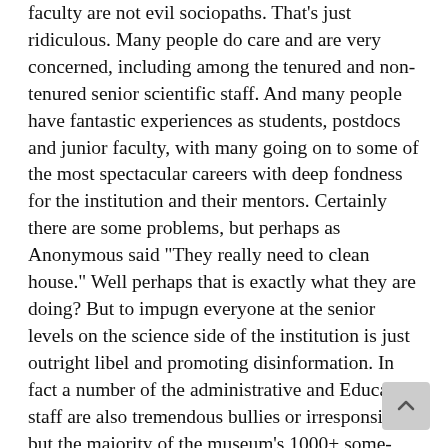faculty are not evil sociopaths. That's just ridiculous. Many people do care and are very concerned, including among the tenured and non-tenured senior scientific staff. And many people have fantastic experiences as students, postdocs and junior faculty, with many going on to some of the most spectacular careers with deep fondness for the institution and their mentors. Certainly there are some problems, but perhaps as Anonymous said "They really need to clean house." Well perhaps that is exactly what they are doing? But to impugn everyone at the senior levels on the science side of the institution is just outright libel and promoting disinformation. In fact a number of the administrative and Education staff are also tremendous bullies or irresponsible, but the majority of the museum's 1000+ some-odd employees are really good and decent people who have dedicated their lives to science, the teaching of it, and the production of new knowledge, from the guards and custodial staff, to the teachers, exhibition designers and research staff. A sense of balance is needed here in this discussion. Not blanket anger and cancellation